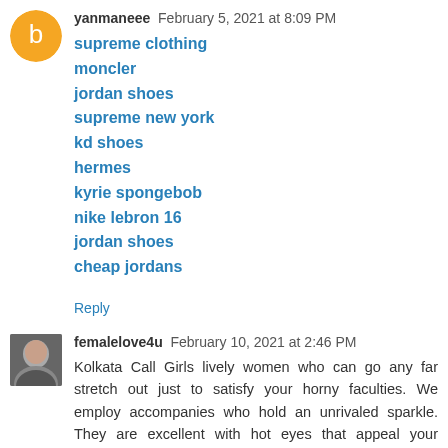yanmaneee February 5, 2021 at 8:09 PM
supreme clothing
moncler
jordan shoes
supreme new york
kd shoes
hermes
kyrie spongebob
nike lebron 16
jordan shoes
cheap jordans
Reply
femalelove4u February 10, 2021 at 2:46 PM
Kolkata Call Girls lively women who can go any far stretch out just to satisfy your horny faculties. We employ accompanies who hold an unrivaled sparkle. They are excellent with hot eyes that appeal your faculties for the most genuine experience. Their lips are engaging which demand you to taste the most showering kind of sensuality